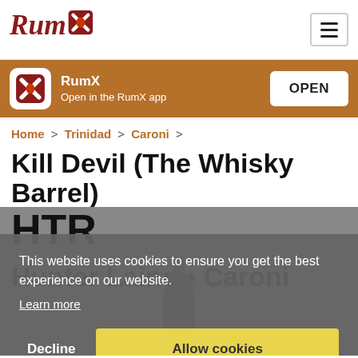[Figure (logo): RumX logo with stylized text 'Rum' and an X with rum barrel graphic in dark red/maroon]
[Figure (screenshot): Hamburger menu icon (three horizontal lines) in a rounded rectangle border]
[Figure (infographic): App promotion banner with brown background, RumX app icon, text 'RumX / Open in the RumX app', and OPEN button]
Home > Trinidad > Caroni >
Kill Devil (The Whisky Barrel) HTR
Hunter Laing • Caroni
This website uses cookies to ensure you get the best experience on our website.
Learn more
Decline
Allow cookies